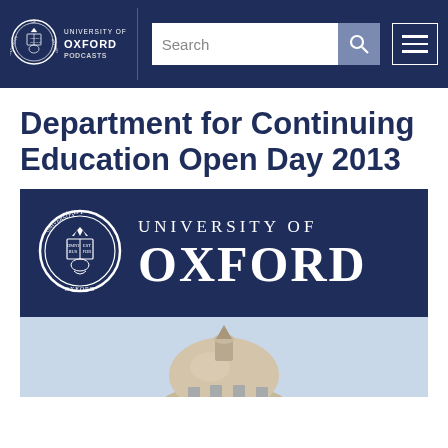UNIVERSITY OF OXFORD PODCASTS | Search | Menu
Department for Continuing Education Open Day 2013
[Figure (logo): University of Oxford logo banner with circular seal on dark navy background, text 'UNIVERSITY OF OXFORD' in serif font, followed by a photograph of an Oxford dome building against a light blue sky]